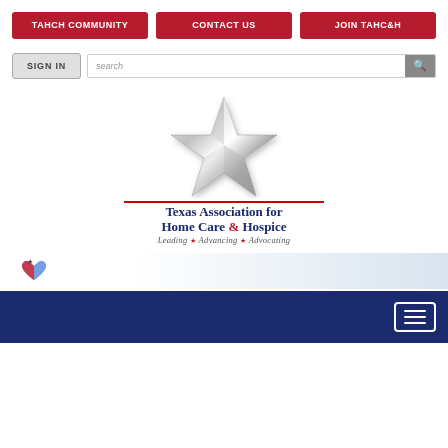[Figure (screenshot): Navigation buttons: TAHCH COMMUNITY, CONTACT US, JOIN TAHC&H]
[Figure (screenshot): Sign In button and search bar with magnifier icon]
[Figure (logo): Texas Association for Home Care & Hospice logo with metallic silver star, text 'Texas Association for Home Care & Hospice', tagline 'Leading * Advancing * Advocating']
[Figure (logo): Small heart/star logo on light blue gradient strip]
[Figure (screenshot): Dark navy blue navigation bar with hamburger menu icon (three horizontal lines) on right side]